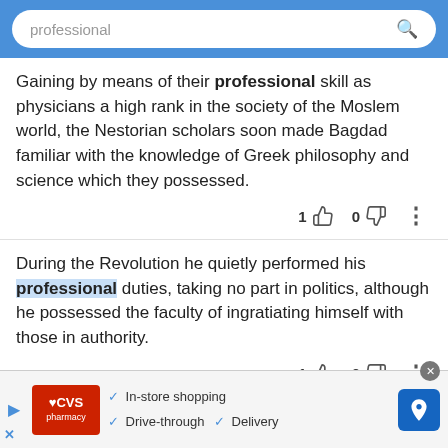professional
Gaining by means of their professional skill as physicians a high rank in the society of the Moslem world, the Nestorian scholars soon made Bagdad familiar with the knowledge of Greek philosophy and science which they possessed.
During the Revolution he quietly performed his professional duties, taking no part in politics, although he possessed the faculty of ingratiating himself with those in authority.
[Figure (screenshot): CVS Pharmacy advertisement banner with in-store shopping, drive-through, and delivery options]